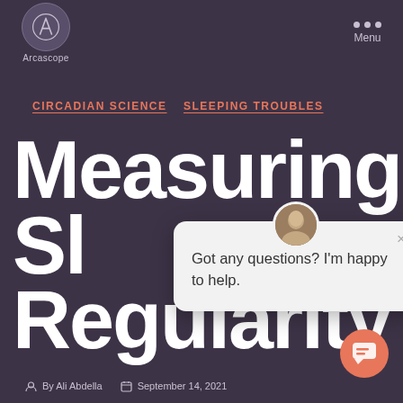[Figure (logo): Arcascope circular logo with stylized A, with text 'Arcascope' below]
Arcascope  Menu
CIRCADIAN SCIENCE  SLEEPING TROUBLES
Measuring Sleep Regularity
[Figure (screenshot): Chat popup with avatar photo, close button (x), and text: Got any questions? I'm happy to help.]
By Ali Abdella  September 14, 2021